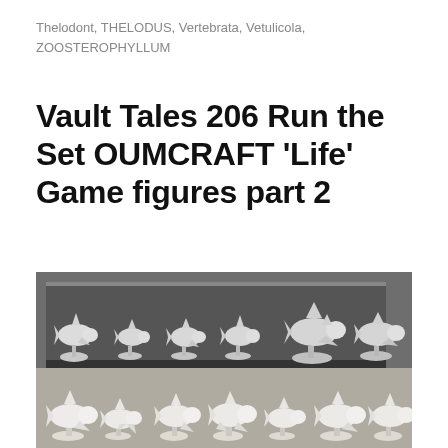Thelodont, THELODUS, Vertebrata, Vetulicola, ZOOSTEROPHYLLUM
Vault Tales 206 Run the Set OUMCRAFT ‘Life’ Game figures part 2
[Figure (photo): Black and white photograph of multiple white ceramic or resin fish figurines on stands, arranged in two rows on a display shelf/tray. The figures appear to be various fish and marine creature models from the OUMCRAFT Life Game set.]